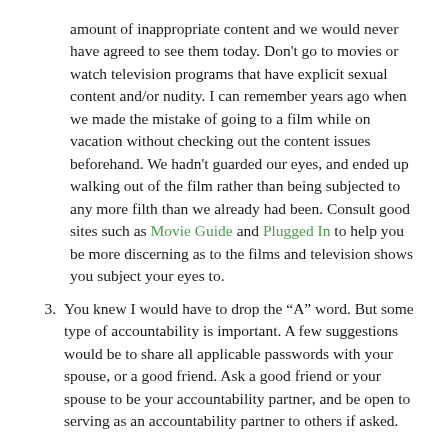amount of inappropriate content and we would never have agreed to see them today. Don't go to movies or watch television programs that have explicit sexual content and/or nudity. I can remember years ago when we made the mistake of going to a film while on vacation without checking out the content issues beforehand. We hadn't guarded our eyes, and ended up walking out of the film rather than being subjected to any more filth than we already had been. Consult good sites such as Movie Guide and Plugged In to help you be more discerning as to the films and television shows you subject your eyes to.
3. You knew I would have to drop the “A” word. But some type of accountability is important. A few suggestions would be to share all applicable passwords with your spouse, or a good friend. Ask a good friend or your spouse to be your accountability partner, and be open to serving as an accountability partner to others if asked.
These are just three suggestions on how a Christian can remain pure in our sex-crazed culture. What would you